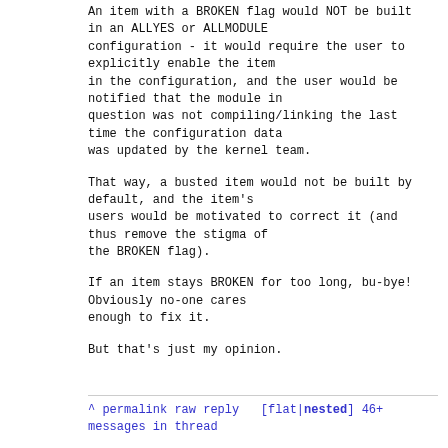An item with a BROKEN flag would NOT be built
in an ALLYES or ALLMODULE
configuration - it would require the user to
explicitly enable the item
in the configuration, and the user would be
notified that the module in
question was not compiling/linking the last
time the configuration data
was updated by the kernel team.
That way, a busted item would not be built by
default, and the item's
users would be motivated to correct it (and
thus remove the stigma of
the BROKEN flag).
If an item stays BROKEN for too long, bu-bye!
Obviously no-one cares
enough to fix it.
But that's just my opinion.
^ permalink raw reply   [flat|nested] 46+
messages in thread
* Re: time for some drivers to be removed?